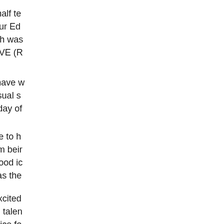During  the training day prior to our half te support from Mrs Jennie Downes Our Ed a previous Headteacher at Nannerch was and was able to show us the new RVE (R
The children in Dosbarth Branwen have w didn't manage to complete all our usual s and we missed the Monday and Friday of
The children in Nant Draig were able to h Victorians. With the topic for the term beir jubilee, they thought it would be a good ic tells me it was some interesting ideas the
On Wednesday the children were excited on display, and I was amazed at the talen They were also able to have a practice fo
The highlight of everybody's week has be Federation came together so we mixed al